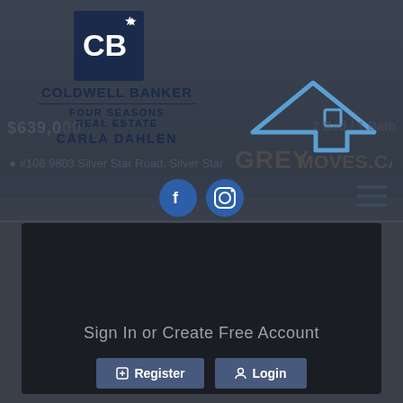[Figure (logo): Coldwell Banker Four Seasons Real Estate logo with CB monogram in dark navy square, agent name Carla Dahlen]
[Figure (logo): GreyMoves.ca logo with mountain/house icon in blue]
$639,0... (price partially obscured)
#106 9803 Silver Star Road, Silver Star
[Figure (screenshot): Social media icons: Facebook and Instagram circles, plus hamburger menu icon]
Sign In or Create Free Account
Register
Login